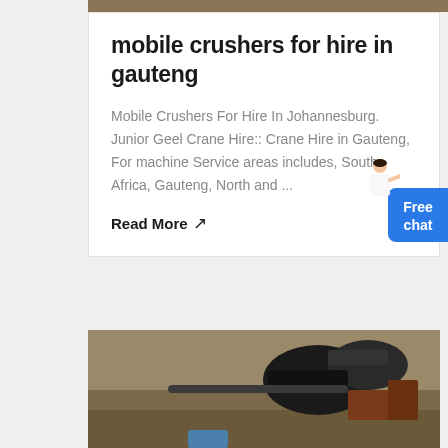[Figure (photo): Top portion of an outdoor/industrial image, cropped at the top of the page]
mobile crushers for hire in gauteng
Mobile Crushers For Hire In Johannesburg. Junior Geel Crane Hire:: Crane Hire in Gauteng, For machine Service areas includes, South Africa, Gauteng, North and ...
Read More ↗
[Figure (photo): Industrial machinery/equipment image showing pipes and mechanical parts in an outdoor setting, partially visible at bottom of page]